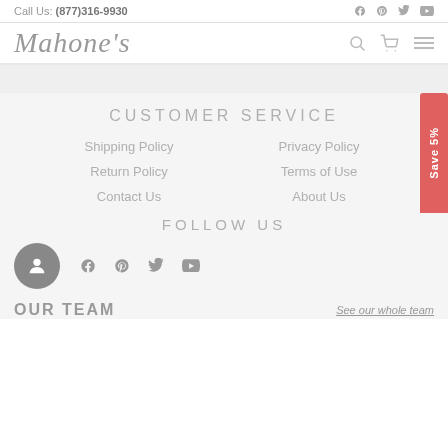Call Us: (877)316-9930
[Figure (logo): Mahone's script logo]
CUSTOMER SERVICE
Shipping Policy
Privacy Policy
Return Policy
Terms of Use
Contact Us
About Us
FOLLOW US
[Figure (infographic): Social media icons: Facebook, Pinterest, Twitter, YouTube with avatar circle]
OUR TEAM
See our whole team